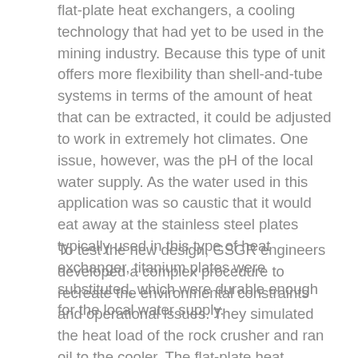flat-plate heat exchangers, a cooling technology that had yet to be used in the mining industry. Because this type of unit offers more flexibility than shell-and-tube systems in terms of the amount of heat that can be extracted, it could be adjusted to work in extremely hot climates. One issue, however, was the pH of the local water supply. As the water used in this application was so caustic that it would eat away at the stainless steel plates typically used in this type of heat exchanger, titanium plates were substituted, which were durable enough for the local water supply.
To test the new design, GSGR engineers developed a complex procedure to recreate the environmental constraints and operational issues. They simulated the heat load of the rock crusher and ran oil to the cooler. The flat-plate heat exchanger was supplied